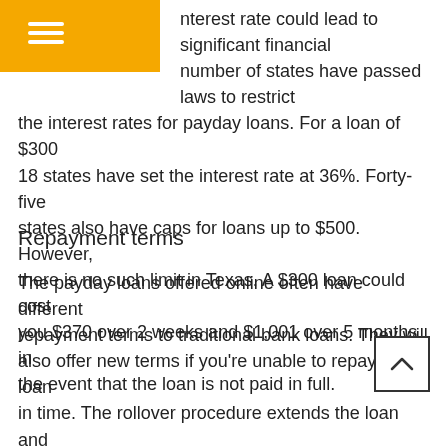≡ [navigation menu icon]
interest rate could lead to significant financial number of states have passed laws to restrict the interest rates for payday loans. For a loan of $300 18 states have set the interest rate at 36%. Forty-five states also have caps for loans up to $500. However, there is no such limit in Texas. A $300 loan could cost you $370 over 2 weeks and $1,001 over 5 months in the event that the loan is not paid in full.
Repayment terms
The payday loans offered online often have different repayment terms to traditional bank loans. They will also offer new terms if you're unable to repay the loan in time. The rollover procedure extends the loan and adds additional charges and interest rates to your debt. It is essential to select repayment terms that